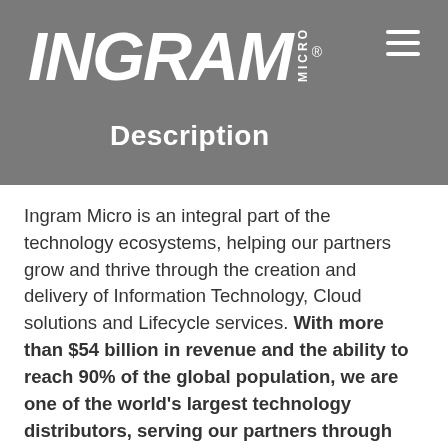[Figure (logo): Ingram Micro logo in white italic bold text on grey background with MICRO in vertical text and registered trademark symbol]
Description
Ingram Micro is an integral part of the technology ecosystems, helping our partners grow and thrive through the creation and delivery of Information Technology, Cloud solutions and Lifecycle services. With more than $54 billion in revenue and the ability to reach 90% of the global population, we are one of the world's largest technology distributors, serving our partners through operations in 61 countries with 29,000 associates.
We offer a hybrid work environment